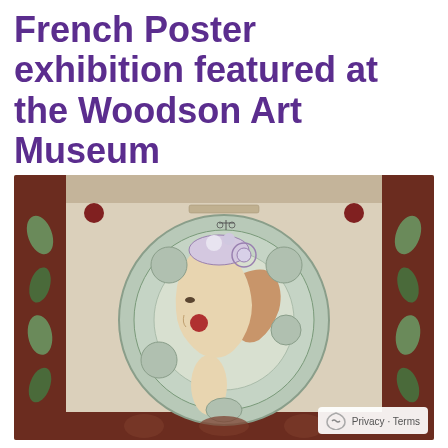French Poster exhibition featured at the Woodson Art Museum
[Figure (illustration): Art Nouveau style illustration showing a woman in profile with an ornate headdress, surrounded by a circular zodiac/celestial motif with floral border elements in earthy tones of brown, sage green, and muted pink — style of Alphonse Mucha.]
Privacy · Terms